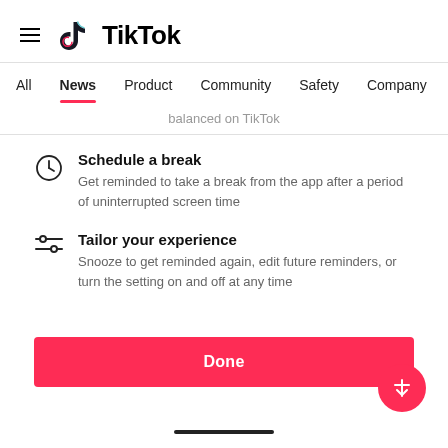TikTok
All  News  Product  Community  Safety  Company
balanced on TikTok
Schedule a break — Get reminded to take a break from the app after a period of uninterrupted screen time
Tailor your experience — Snooze to get reminded again, edit future reminders, or turn the setting on and off at any time
Done